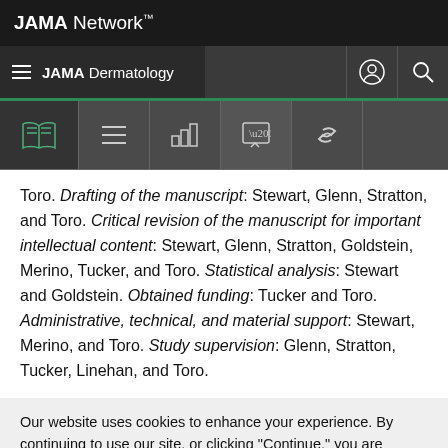JAMA Network
JAMA Dermatology
Toro. Drafting of the manuscript: Stewart, Glenn, Stratton, and Toro. Critical revision of the manuscript for important intellectual content: Stewart, Glenn, Stratton, Goldstein, Merino, Tucker, and Toro. Statistical analysis: Stewart and Goldstein. Obtained funding: Tucker and Toro. Administrative, technical, and material support: Stewart, Merino, and Toro. Study supervision: Glenn, Stratton, Tucker, Linehan, and Toro.
Our website uses cookies to enhance your experience. By continuing to use our site, or clicking "Continue," you are agreeing to our Cookie Policy | Continue